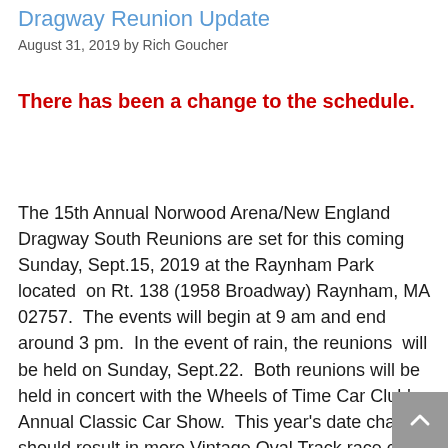Dragway Reunion Update
August 31, 2019 by Rich Goucher
There has been a change to the schedule.
The 15th Annual Norwood Arena/New England Dragway South Reunions are set for this coming Sunday, Sept.15, 2019 at the Raynham Park located on Rt. 138 (1958 Broadway) Raynham, MA 02757. The events will begin at 9 am and end around 3 pm. In the event of rain, the reunions will be held on Sunday, Sept.22. Both reunions will be held in concert with the Wheels of Time Car Club's Annual Classic Car Show. This year's date change should result in more Vintage Oval Track race cars to be on hand.